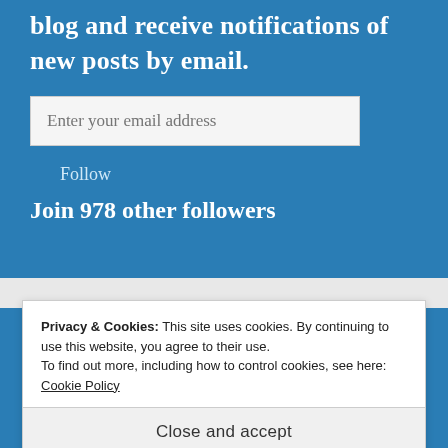blog and receive notifications of new posts by email.
Enter your email address
Follow
Join 978 other followers
Privacy & Cookies: This site uses cookies. By continuing to use this website, you agree to their use.
To find out more, including how to control cookies, see here: Cookie Policy
Close and accept